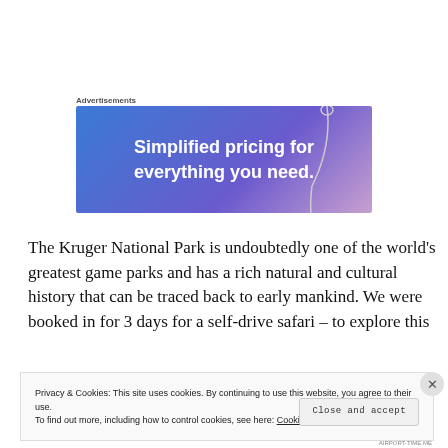Advertisements
[Figure (illustration): Advertisement banner with blue-to-purple gradient background and white bold text reading 'Simplified pricing for everything you need.' with a needle graphic on the right side.]
The Kruger National Park is undoubtedly one of the world's greatest game parks and has a rich natural and cultural history that can be traced back to early mankind. We were booked in for 3 days for a self-drive safari – to explore this
Privacy & Cookies: This site uses cookies. By continuing to use this website, you agree to their use.
To find out more, including how to control cookies, see here: Cookie Policy
Close and accept